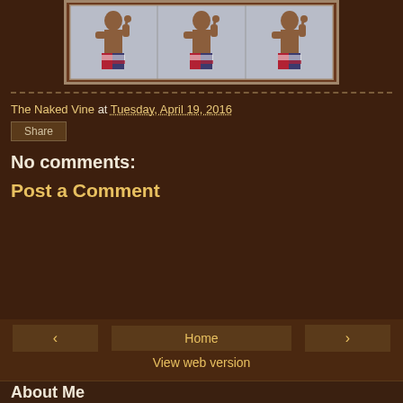[Figure (photo): Three repeated images of a muscular boxer in American flag-themed shorts giving a thumbs up, shown side by side in a bordered frame.]
The Naked Vine at Tuesday, April 19, 2016
Share
No comments:
Post a Comment
‹   Home   ›   View web version
About Me